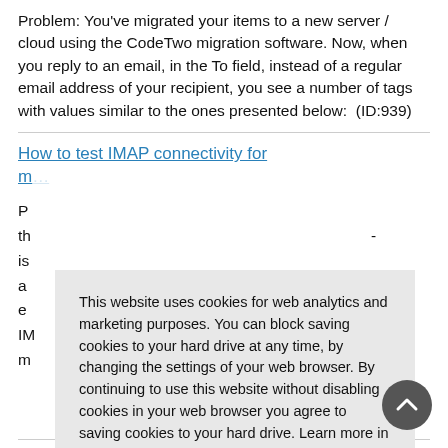Problem: You’ve migrated your items to a new server / cloud using the CodeTwo migration software. Now, when you reply to an email, in the To field, instead of a regular email address of your recipient, you see a number of tags with values similar to the ones presented below: (ID:939)
How to test IMAP connectivity for m...
P... th... is... a... e... IM... m...
This website uses cookies for web analytics and marketing purposes. You can block saving cookies to your hard drive at any time, by changing the settings of your web browser. By continuing to use this website without disabling cookies in your web browser you agree to saving cookies to your hard drive. Learn more in our Privacy Policy.